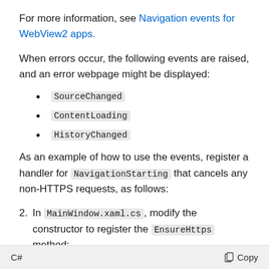For more information, see Navigation events for WebView2 apps.
When errors occur, the following events are raised, and an error webpage might be displayed:
SourceChanged
ContentLoading
HistoryChanged
As an example of how to use the events, register a handler for NavigationStarting that cancels any non-HTTPS requests, as follows:
2. In MainWindow.xaml.cs, modify the constructor to register the EnsureHttps method:
C#  Copy